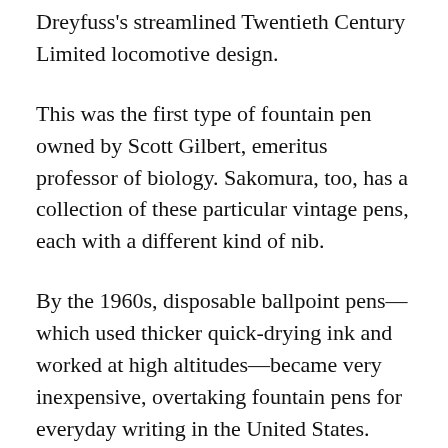Dreyfuss's streamlined Twentieth Century Limited locomotive design.
This was the first type of fountain pen owned by Scott Gilbert, emeritus professor of biology. Sakomura, too, has a collection of these particular vintage pens, each with a different kind of nib.
By the 1960s, disposable ballpoint pens—which used thicker quick-drying ink and worked at high altitudes—became very inexpensive, overtaking fountain pens for everyday writing in the United States. Fountain pens are still more commonly used by young students in Europe, and they are a popular gift in Japan, where some of the finest fountain pens are made.
Though their technology is older, fountain pens remain far more environmentally sustainable than